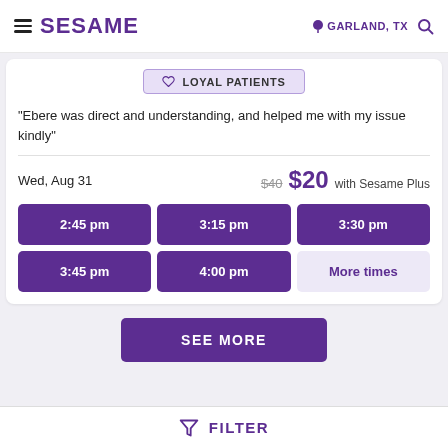SESAME — GARLAND, TX
LOYAL PATIENTS
"Ebere was direct and understanding, and helped me with my issue kindly"
Wed, Aug 31   $40  $20 with Sesame Plus
2:45 pm | 3:15 pm | 3:30 pm | 3:45 pm | 4:00 pm | More times
SEE MORE
FILTER